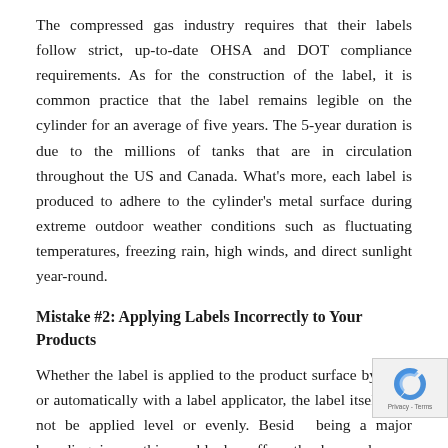The compressed gas industry requires that their labels follow strict, up-to-date OHSA and DOT compliance requirements. As for the construction of the label, it is common practice that the label remains legible on the cylinder for an average of five years. The 5-year duration is due to the millions of tanks that are in circulation throughout the US and Canada. What's more, each label is produced to adhere to the cylinder's metal surface during extreme outdoor weather conditions such as fluctuating temperatures, freezing rain, high winds, and direct sunlight year-round.
Mistake #2: Applying Labels Incorrectly to Your Products
Whether the label is applied to the product surface by hand or automatically with a label applicator, the label itself may not be applied level or evenly. Besides being a major branding issue, this could also affect the bar codes are scanned and could eventually impact